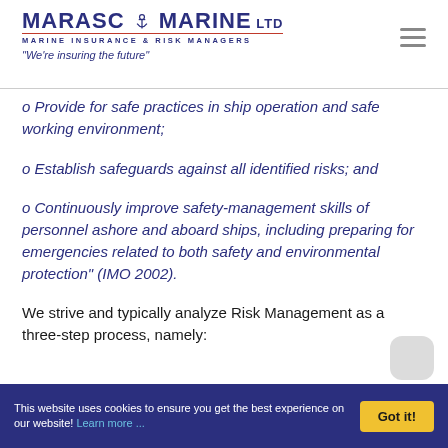MARASCO MARINE LTD — MARINE INSURANCE & RISK MANAGERS — "We're insuring the future"
o Provide for safe practices in ship operation and safe working environment;
o Establish safeguards against all identified risks; and
o Continuously improve safety-management skills of personnel ashore and aboard ships, including preparing for emergencies related to both safety and environmental protection" (IMO 2002).
We strive and typically analyze Risk Management as a three-step process, namely:
This website uses cookies to ensure you get the best experience on our website! Learn more ...  Got it!